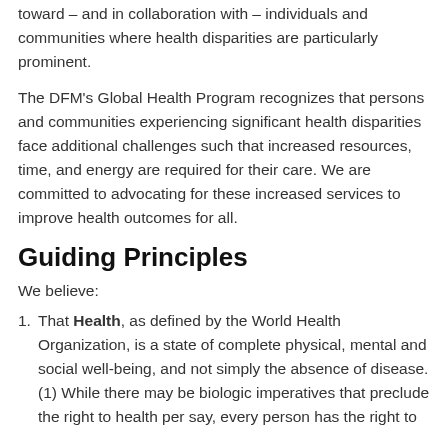toward – and in collaboration with – individuals and communities where health disparities are particularly prominent.
The DFM's Global Health Program recognizes that persons and communities experiencing significant health disparities face additional challenges such that increased resources, time, and energy are required for their care. We are committed to advocating for these increased services to improve health outcomes for all.
Guiding Principles
We believe:
That Health, as defined by the World Health Organization, is a state of complete physical, mental and social well-being, and not simply the absence of disease. (1) While there may be biologic imperatives that preclude the right to health per say, every person has the right to